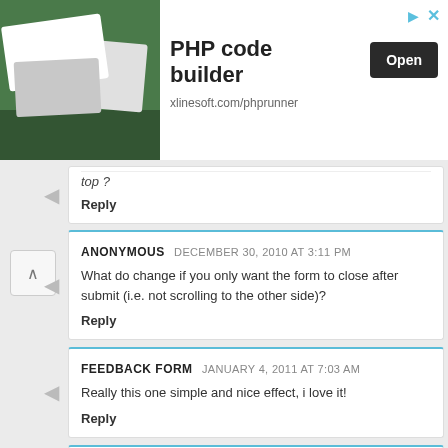[Figure (other): Advertisement banner for PHP code builder by xlinesoft.com/phprunner with an Open button]
top ?
Reply
ANONYMOUS  DECEMBER 30, 2010 AT 3:11 PM
What do change if you only want the form to close after submit (i.e. not scrolling to the other side)?
Reply
FEEDBACK FORM  JANUARY 4, 2011 AT 7:03 AM
Really this one simple and nice effect, i love it!
Reply
HAIDAR  MARCH 19, 2011 AT 5:50 AM